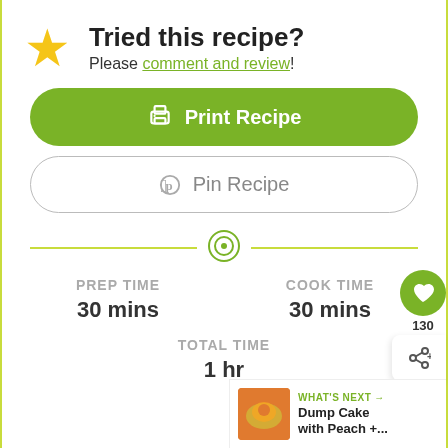Tried this recipe?
Please comment and review!
Print Recipe
Pin Recipe
PREP TIME 30 mins
COOK TIME 30 mins
TOTAL TIME 1 hr
WHAT'S NEXT → Dump Cake with Peach +...